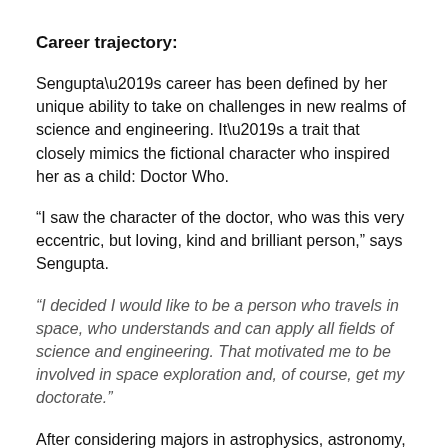Career trajectory:
Sengupta’s career has been defined by her unique ability to take on challenges in new realms of science and engineering. It’s a trait that closely mimics the fictional character who inspired her as a child: Doctor Who.
“I saw the character of the doctor, who was this very eccentric, but loving, kind and brilliant person,” says Sengupta.
“I decided I would like to be a person who travels in space, who understands and can apply all fields of science and engineering. That motivated me to be involved in space exploration and, of course, get my doctorate.”
After considering majors in astrophysics, astronomy,